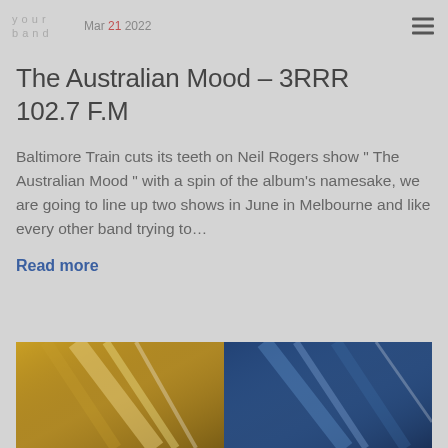Mar 21 2022
The Australian Mood - 3RRR 102.7 F.M
Baltimore Train cuts its teeth on Neil Rogers show " The Australian Mood " with a spin of the album's namesake, we are going to line up two shows in June in Melbourne and like every other band trying to…
Read more
[Figure (photo): Two-panel abstract photo: left panel shows golden yellow tones with angled light streaks, right panel shows blue tones with diagonal light and shadow lines.]